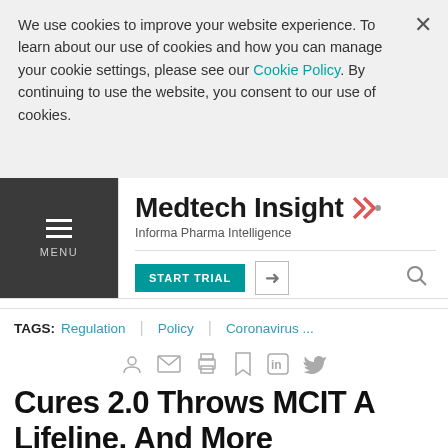We use cookies to improve your website experience. To learn about our use of cookies and how you can manage your cookie settings, please see our Cookie Policy. By continuing to use the website, you consent to our use of cookies.
Medtech Insight – Informa Pharma Intelligence
TAGS: Regulation | Policy | Coronavirus ...
Cures 2.0 Throws MCIT A Lifeline, And More